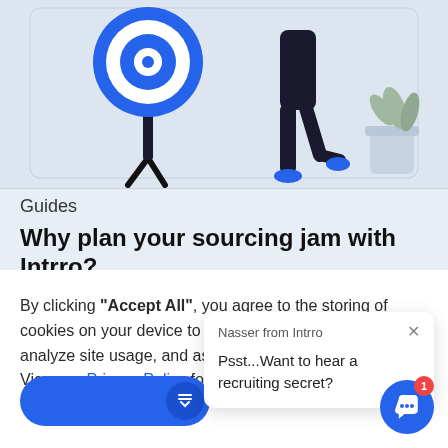[Figure (illustration): Illustration of a person walking past a target/bullseye on a stand, with a potted plant in the background, on a light blue background]
Guides
Why plan your sourcing jam with Intrro?
By clicking "Accept All", you agree to the storing of cookies on your device to enhance site navigation, analyze site usage, and assist in our marketing efforts. View our Privacy Policy for more information.
[Figure (screenshot): Chat popup from Nasser from Intrro saying: Psst...Want to hear a recruiting secret?]
Deny
Preferences